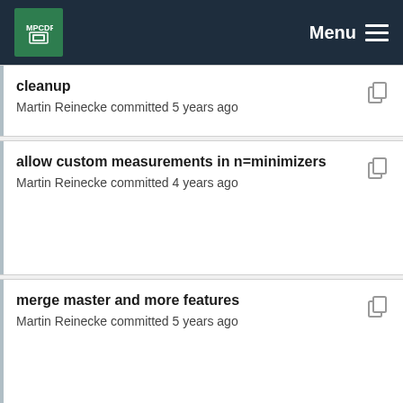MPCDF Menu
cleanup
Martin Reinecke committed 5 years ago
allow custom measurements in n=minimizers
Martin Reinecke committed 4 years ago
merge master and more features
Martin Reinecke committed 5 years ago
Nicer IC output
Philipp Arras committed 4 years ago
nor more keepers